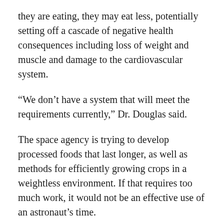they are eating, they may eat less, potentially setting off a cascade of negative health consequences including loss of weight and muscle and damage to the cardiovascular system.
“We don’t have a system that will meet the requirements currently,” Dr. Douglas said.
The space agency is trying to develop processed foods that last longer, as well as methods for efficiently growing crops in a weightless environment. If that requires too much work, it would not be an effective use of an astronaut’s time.
“You want them out exploring,” Dr. Douglas said, “and not worrying about their next meal.”
Enter Veggie, a plant growth chamber aboard the International Space Station since 2014. Dr. Massa’s paper analyzes lettuce experiments from 2014 to 2016.